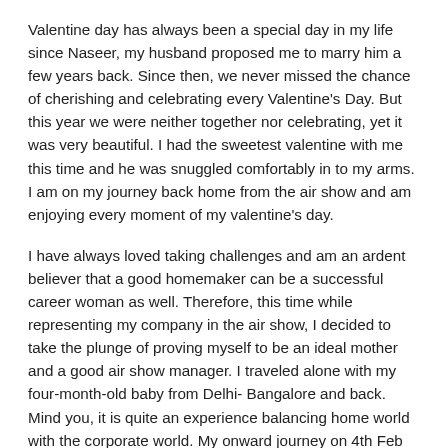Valentine day has always been a special day in my life since Naseer, my husband proposed me to marry him a few years back. Since then, we never missed the chance of cherishing and celebrating every Valentine's Day. But this year we were neither together nor celebrating, yet it was very beautiful. I had the sweetest valentine with me this time and he was snuggled comfortably in to my arms. I am on my journey back home from the air show and am enjoying every moment of my valentine's day.
I have always loved taking challenges and am an ardent believer that a good homemaker can be a successful career woman as well. Therefore, this time while representing my company in the air show, I decided to take the plunge of proving myself to be an ideal mother and a good air show manager. I traveled alone with my four-month-old baby from Delhi- Bangalore and back. Mind you, it is quite an experience balancing home world with the corporate world. My onward journey on 4th Feb was still better because I had an escort provided by the airline to help me with my baby, baby bags and laptop. I managed through the two & half hour